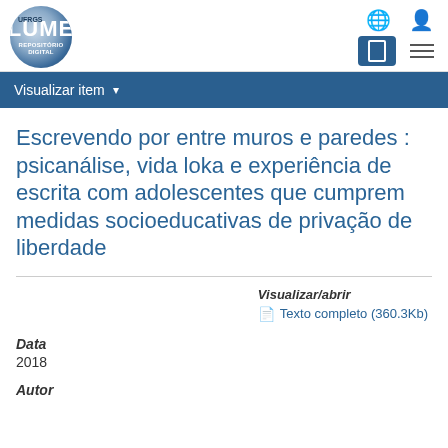[Figure (logo): LUME UFRGS Repositório Digital logo — circular design with blue gradient, text LUME and REPOSITÓRIO DIGITAL]
Visualizar item ▾
Escrevendo por entre muros e paredes : psicanálise, vida loka e experiência de escrita com adolescentes que cumprem medidas socioeducativas de privação de liberdade
Visualizar/abrir
Texto completo (360.3Kb)
Data
2018
Autor